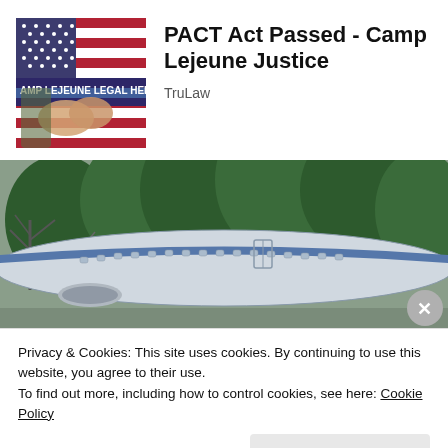[Figure (photo): Advertisement image showing two people shaking hands in front of an American flag, with text overlay 'AMP LEJEUNE LEGAL HELP']
PACT Act Passed - Camp Lejeune Justice
TruLaw
[Figure (photo): Photograph of an old abandoned airplane fuselage surrounded by trees]
Privacy & Cookies: This site uses cookies. By continuing to use this website, you agree to their use.
To find out more, including how to control cookies, see here: Cookie Policy
Close and accept